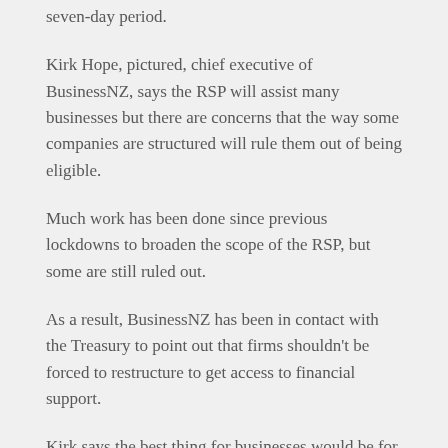seven-day period.
Kirk Hope, pictured, chief executive of BusinessNZ, says the RSP will assist many businesses but there are concerns that the way some companies are structured will rule them out of being eligible.
Much work has been done since previous lockdowns to broaden the scope of the RSP, but some are still ruled out.
As a result, BusinessNZ has been in contact with the Treasury to point out that firms shouldn't be forced to restructure to get access to financial support.
Kirk says the best thing for businesses would be for New Zealand not to have to go into lockdown when a community case is detected.
Getting vaccination rates up is a key to achieving that